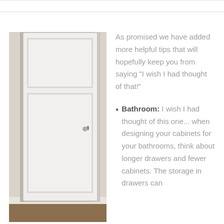[Figure (photo): Photo of a white interior door with a silver handle, set against a light beige wall with white baseboard trim. The door appears narrow and tall.]
As promised we have added more helpful tips that will hopefully keep you from saying "I wish I had thought of that!"
Bathroom: I wish I had thought of this one... when designing your cabinets for your bathrooms, think about longer drawers and fewer cabinets. The storage in drawers can